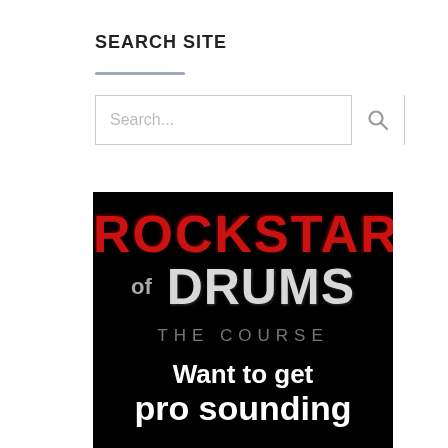SEARCH SITE
[Figure (screenshot): Search input box with placeholder text 'Search...' and a magnifying glass button on the right]
[Figure (illustration): Rockstars of Drums - The Course advertisement banner on black background. Shows 'ROCKSTARS' in large red bold letters, 'OF DRUMS' below in white/gray metallic letters, 'THE COURSE' in gray spaced letters, and 'Want to get pro sounding' in white bold text.]